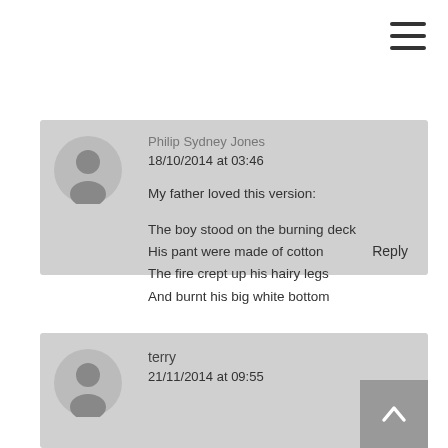≡
Philip Sydney Jones
18/10/2014 at 03:46
My father loved this version:

The boy stood on the burning deck
His pant were made of cotton
The fire crept up his hairy legs
And burnt his big white bottom
Reply
terry
21/11/2014 at 09:55